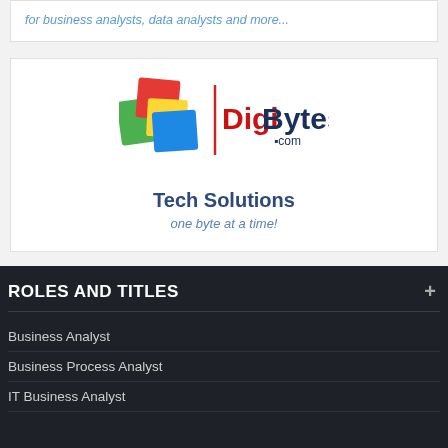for business analysts, data analysts and more...
[Figure (logo): DigiBytes.com logo with colorful overlapping squares icon and red/dark blue text]
Tech Solutions
one byte at a time!
ROLES AND TITLES
Business Analyst
Business Process Analyst
IT Business Analyst